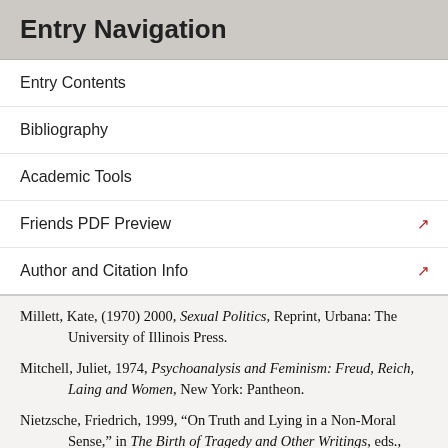Entry Navigation
Entry Contents
Bibliography
Academic Tools
Friends PDF Preview
Author and Citation Info
Millett, Kate, (1970) 2000, Sexual Politics, Reprint, Urbana: The University of Illinois Press.
Mitchell, Juliet, 1974, Psychoanalysis and Feminism: Freud, Reich, Laing and Women, New York: Pantheon.
Nietzsche, Friedrich, 1999, “On Truth and Lying in a Non-Moral Sense,” in The Birth of Tragedy and Other Writings, eds., Raymond Geuss and Ronald Spiers, Cambridge: Cambridge University Press.
Oliver, Kelly, 1995, Womanizing Nietzsche: Philosophy’s